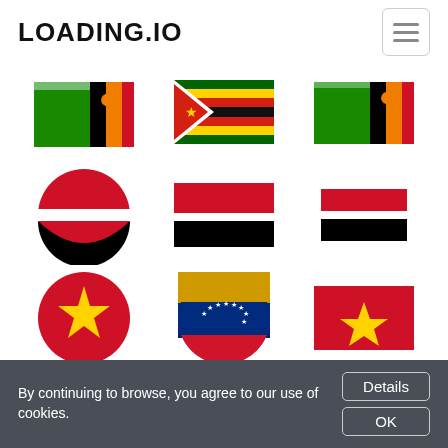LOADING.IO
[Figure (illustration): Grid of 9 flag icons: Row 1: Zambia flag (rectangle with green, black stripe, eagle, orange), Zimbabwe flag (rectangle, multicolor stripes and bird), Zambia flag (rectangle). Row 2: Yemen flag circle (red/white/black), Yemen flag rectangle, Yemen flag small rectangle. Row 3: Vietnam flag circle (red with gold star), Venezuela flag circle (red/yellow/blue with stars), Vietnam flag rectangle (red with gold star).]
By continuing to browse, you agree to our use of cookies.